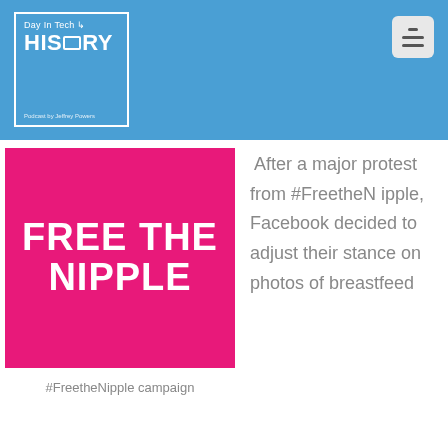[Figure (logo): Day In Tech HISTORY podcast logo — blue square with white border, text 'Day In Tech HISTORY' with monitor icon, 'Podcast by Jeffrey Powers' at bottom]
[Figure (illustration): Hot pink/magenta square graphic with bold white text reading FREE THE NIPPLE]
#FreetheNipple campaign
After a major protest from #FreetheNipple, Facebook decided to adjust their stance on photos of breastfeed